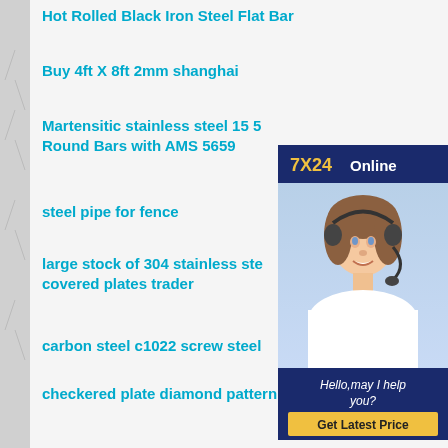Hot Rolled Black Iron Steel Flat Bar
Buy 4ft X 8ft 2mm shanghai
Martensitic stainless steel 15 5 Round Bars with AMS 5659
steel pipe for fence
large stock of 304 stainless ste covered plates trader
carbon steel c1022 screw steel
checkered plate diamond pattern
SGS nimonic80a stainless steel plates Tisco Baosteel Posco
[Figure (illustration): Chat widget with photo of customer service representative wearing headset, with '7X24 Online' header, 'Hello, may I help you?' text, and 'Get Latest Price' button]